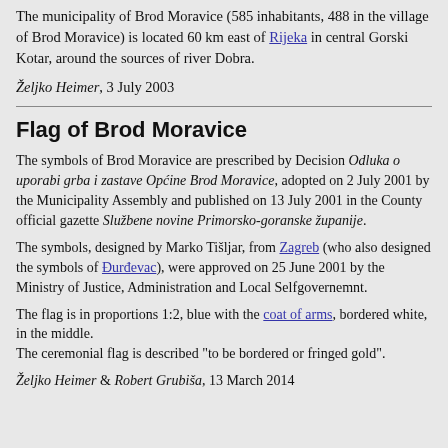The municipality of Brod Moravice (585 inhabitants, 488 in the village of Brod Moravice) is located 60 km east of Rijeka in central Gorski Kotar, around the sources of river Dobra.
Željko Heimer, 3 July 2003
Flag of Brod Moravice
The symbols of Brod Moravice are prescribed by Decision Odluka o uporabi grba i zastave Općine Brod Moravice, adopted on 2 July 2001 by the Municipality Assembly and published on 13 July 2001 in the County official gazette Službene novine Primorsko-goranske županije.
The symbols, designed by Marko Tišljar, from Zagreb (who also designed the symbols of Đurđevac), were approved on 25 June 2001 by the Ministry of Justice, Administration and Local Selfgovernemnt.
The flag is in proportions 1:2, blue with the coat of arms, bordered white, in the middle. The ceremonial flag is described "to be bordered or fringed gold".
Željko Heimer & Robert Grubiša, 13 March 2014